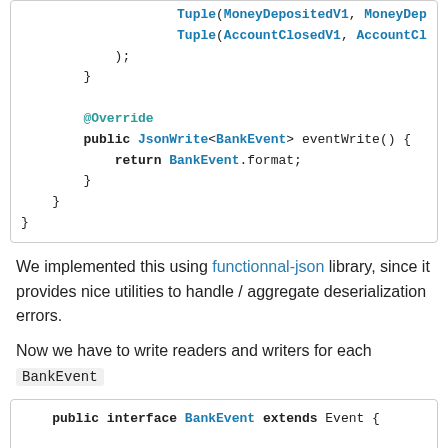[Figure (screenshot): Code block showing Java code with @Override annotation and eventWrite method returning BankEvent.format, plus closing braces.]
We implemented this using functionnal-json library, since it provides nice utilities to handle / aggregate deserialization errors.
Now we have to write readers and writers for each BankEvent
[Figure (screenshot): Code block showing Java public interface BankEvent extends Event { with Type<MoneyWithdrawn> MoneyWithdrawnV1 = Type...]